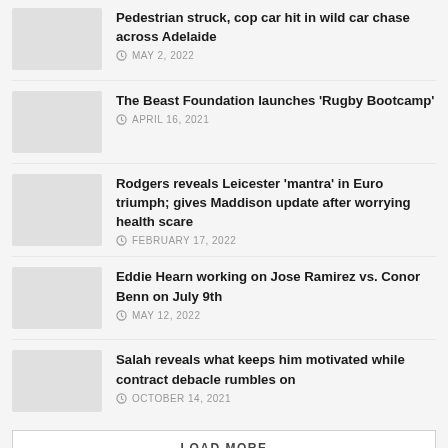Pedestrian struck, cop car hit in wild car chase across Adelaide — MAY 2, 2022
The Beast Foundation launches 'Rugby Bootcamp' — APRIL 16, 2021
Rodgers reveals Leicester 'mantra' in Euro triumph; gives Maddison update after worrying health scare — FEBRUARY 17, 2022
Eddie Hearn working on Jose Ramirez vs. Conor Benn on July 9th — MAY 12, 2022
Salah reveals what keeps him motivated while contract debacle rumbles on — OCTOBER 14, 2021
LOAD MORE